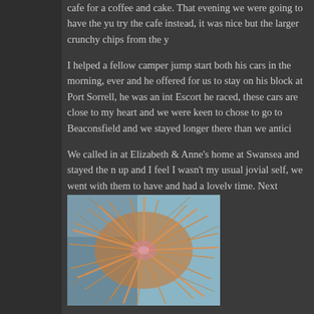cafe for a coffee and cake. That evening we were going to have the yu try the cafe instead, it was nice but the larger crunchy chips from the y
I helped a fellow camper jump start both his cars in the morning, ever and he offered for us to stay on his block at Port Sorrell, he was an int Escort he raced, these cars are close to my heart and we were keen to chose to go to Beaconsfield and we stayed longer there than we antici
We called in at Elizabeth & Anne's home at Swansea and stayed the n up and I feel I wasn't my usual jovial self, we went with them to have and had a lovely time. Next morning we said our goodbyes and heade wound our way up over the range.
Beauty Point is a few kilometres North of Beaconsfield and we had be worth a visit. We're glad we did, I now know so much more about Sea will get me in life I don't know but it was a pleasurable few hours gett had seen in the wild, along with Echidna's but again it was interesting
[Figure (photo): Close-up photo of what appears to be a sea creature or coral with orange/tan spiny tentacles or needles against a blue-grey background, likely a sea urchin or similar marine organism photographed at Beauty Point.]